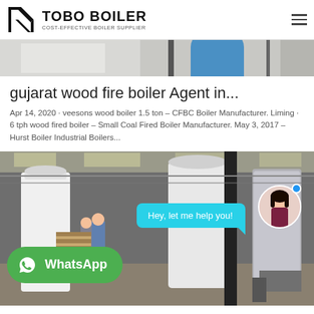TOBO BOILER — COST-EFFECTIVE BOILER SUPPLIER
[Figure (photo): Partial cropped photo of industrial equipment, appears to show white metal surfaces and a blue cylindrical tank in a warehouse setting.]
gujarat wood fire boiler Agent in...
Apr 14, 2020 · veesons wood boiler 1.5 ton – CFBC Boiler Manufacturer. Liming · 6 tph wood fired boiler – Small Coal Fired Boiler Manufacturer. May 3, 2017 – Hurst Boiler Industrial Boilers...
[Figure (photo): Industrial boiler manufacturing facility. Large white boilers on factory floor with workers in background. Overlay elements include a WhatsApp button and a chat bubble saying 'Hey, let me help you!' with a customer service avatar.]